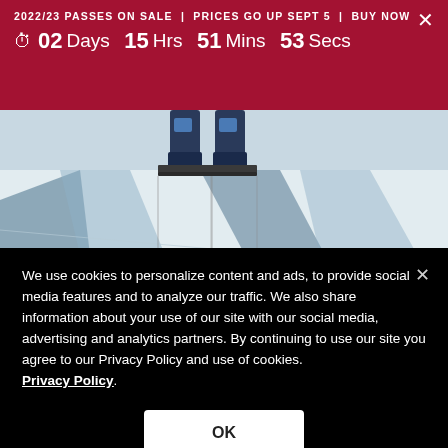2022/23 PASSES ON SALE | PRICES GO UP SEPT 5 | BUY NOW
⏱ 02 Days  15 Hrs  51 Mins  53 Secs
[Figure (photo): Close-up of skier feet and skis on a snow-covered slope with diagonal shadows cast across the groomed white snow.]
We use cookies to personalize content and ads, to provide social media features and to analyze our traffic. We also share information about your use of our site with our social media, advertising and analytics partners. By continuing to use our site you agree to our Privacy Policy and use of cookies. Privacy Policy.
OK